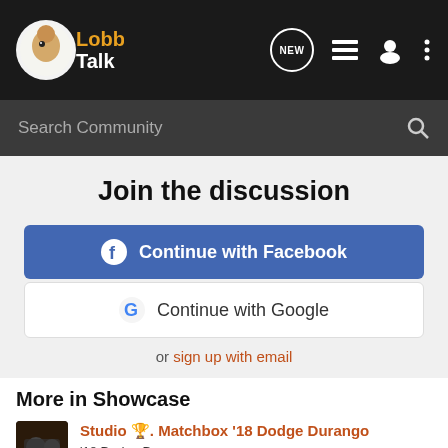[Figure (logo): LobbyTalk logo with orange/white text and graphic on dark nav bar]
Search Community
Join the discussion
Continue with Facebook
Continue with Google
or sign up with email
More in Showcase
Studio 🎨. Matchbox '18 Dodge Durango
'18 Dodge Durango